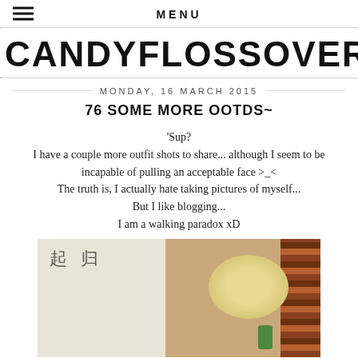MENU
CANDYFLOSSOVERKILL
MONDAY, 16 MARCH 2015
76 SOME MORE OOTDS~
'Sup?
I have a couple more outfit shots to share... although I seem to be incapable of pulling an acceptable face >_<
The truth is, I actually hate taking pictures of myself...
But I like blogging...
I am a walking paradox xD
[Figure (photo): Mirror selfie of a blonde person holding a phone, with Chinese characters/kanji visible on papers in the background on the left side, and vertical striped fabric on the right side.]